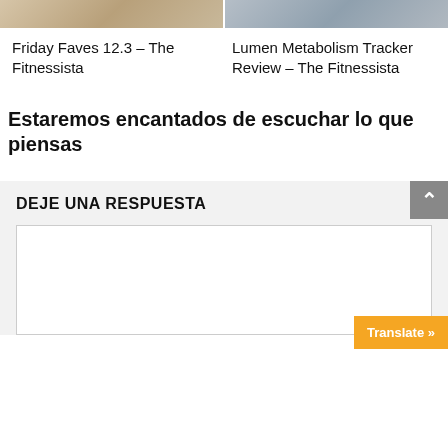[Figure (photo): Two cropped image thumbnails at the top: left shows a table with decorative items (holiday/festive scene), right shows a person (woman) with arms crossed]
Friday Faves 12.3 – The Fitnessista
Lumen Metabolism Tracker Review – The Fitnessista
Estaremos encantados de escuchar lo que piensas
DEJE UNA RESPUESTA